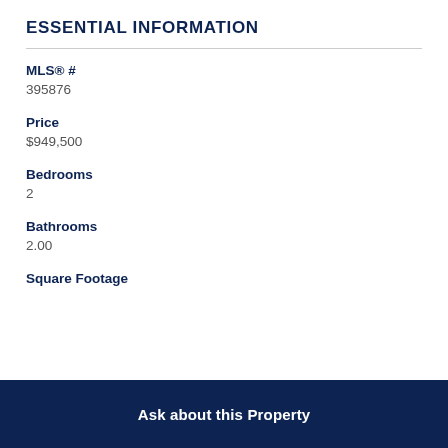ESSENTIAL INFORMATION
MLS® #
395876
Price
$949,500
Bedrooms
2
Bathrooms
2.00
Square Footage
Ask about this Property